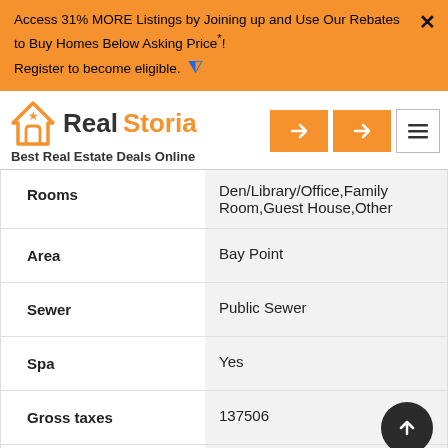Access 31% MORE Listings by Joining up and Use Our Rebates to Buy Homes Below Asking Price*! Register to become eligible.
[Figure (logo): RealStoria logo with house icon and tagline 'Best Real Estate Deals Online']
| Field | Value |
| --- | --- |
| Rooms | Den/Library/Office,Family Room,Guest House,Other |
| Area | Bay Point |
| Sewer | Public Sewer |
| Spa | Yes |
| Gross taxes | 137506 |
| Ml... | Bay Pear... |